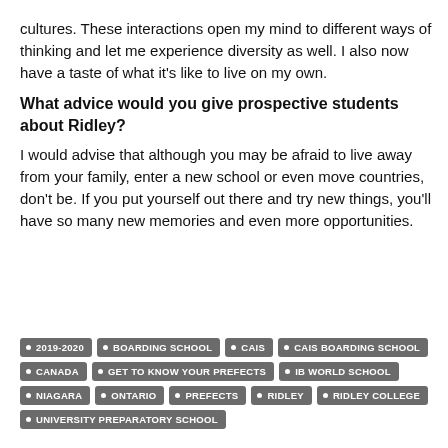cultures. These interactions open my mind to different ways of thinking and let me experience diversity as well. I also now have a taste of what it's like to live on my own.
What advice would you give prospective students about Ridley?
I would advise that although you may be afraid to live away from your family, enter a new school or even move countries, don't be. If you put yourself out there and try new things, you'll have so many new memories and even more opportunities.
2019-2020
BOARDING SCHOOL
CAIS
CAIS BOARDING SCHOOL
CANADA
GET TO KNOW YOUR PREFECTS
IB WORLD SCHOOL
NIAGARA
ONTARIO
PREFECTS
RIDLEY
RIDLEY COLLEGE
UNIVERSITY PREPARATORY SCHOOL